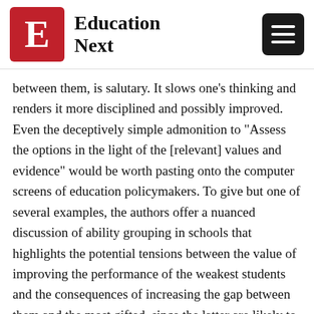Education Next
between them, is salutary. It slows one’s thinking and renders it more disciplined and possibly improved. Even the deceptively simple admonition to “Assess the options in the light of the [relevant] values and evidence” would be worth pasting onto the computer screens of education policymakers. To give but one of several examples, the authors offer a nuanced discussion of ability grouping in schools that highlights the potential tensions between the value of improving the performance of the weakest students and the consequences of increasing the gap between them and the most gifted, since the latter are likely to reap the greater gains from ability grouping.
The second half of the book seeks to apply the theoretical framework to three policy case studies in